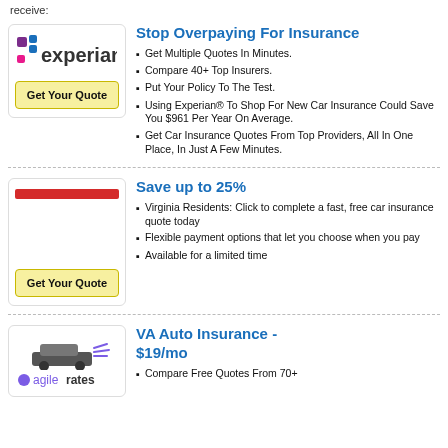receive:
[Figure (logo): Experian logo with colorful dots and text]
Stop Overpaying For Insurance
Get Multiple Quotes In Minutes.
Compare 40+ Top Insurers.
Put Your Policy To The Test.
Using Experian® To Shop For New Car Insurance Could Save You $961 Per Year On Average.
Get Car Insurance Quotes From Top Providers, All In One Place, In Just A Few Minutes.
[Figure (logo): Second ad logo area with red bar]
Save up to 25%
Virginia Residents: Click to complete a fast, free car insurance quote today
Flexible payment options that let you choose when you pay
Available for a limited time
[Figure (logo): AgileRates logo with car illustration]
VA Auto Insurance - $19/mo
Compare Free Quotes From 70+